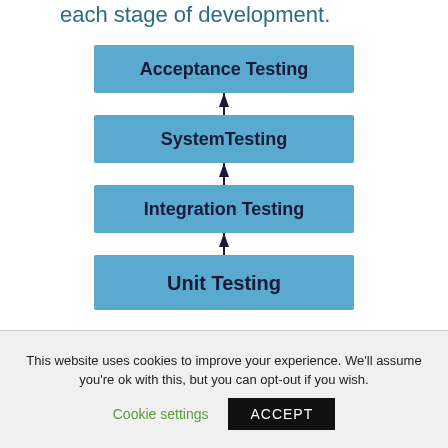each stage of development.
[Figure (flowchart): Vertical stack of four testing levels with upward arrows between them: Unit Testing (bottom), Integration Testing, SystemTesting, Acceptance Testing (top). Each level is a blue rectangle with bold dark text.]
This website uses cookies to improve your experience. We'll assume you're ok with this, but you can opt-out if you wish.
Cookie settings   ACCEPT